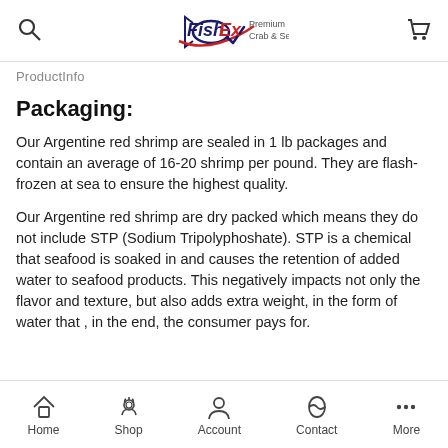FishEx Premium Crab & Seafood
ProductInfo
Packaging:
Our Argentine red shrimp are sealed in 1 lb packages and contain an average of 16-20 shrimp per pound. They are flash-frozen at sea to ensure the highest quality.
Our Argentine red shrimp are dry packed which means they do not include STP (Sodium Tripolyphoshate). STP is a chemical that seafood is soaked in and causes the retention of added water to seafood products. This negatively impacts not only the flavor and texture, but also adds extra weight, in the form of water that , in the end, the consumer pays for.
Home  Shop  Account  Contact  More